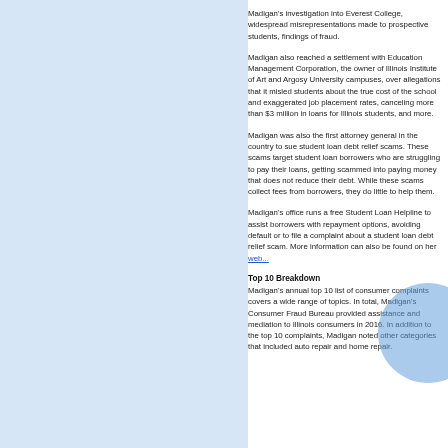Madigan's investigation into Everest College, widespread misrepresentations made to prospective students, findings of fraud.
Madigan also reached a settlement with Education Management Corporation, the owner of Illinois Institute of Art and Argosy University campuses, over allegations that it misled students about the true cost of the school and exaggerated job placement rates, canceling more than $3 million in loans for Illinois students, and more.
Madigan was also the first attorney general in the country to sue student loan debt relief scams. These scams target student loan borrowers who are struggling to pay their loans, getting scammed into paying money that does not reduce their debt. While these scams collect fees from borrowers, they do little to help them.
Madigan's office runs a free Student Loan Helpline to assist borrowers with repayment options, avoiding default or to file a complaint about a student loan debt relief scam. More information can also be found on her website.
Top 10 Breakdown
Madigan's annual top 10 list of consumer complaints covers a wide range of topics. In total, Madigan's Consumer Fraud Bureau provided assistance and mediation to Illinois consumers in 2016. In addition to the top 10 complaints, Madigan noted other categories that included auto repair and home repair.